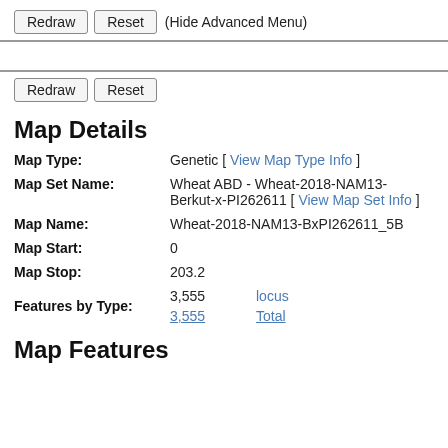Redraw  Reset  (Hide Advanced Menu)
Redraw  Reset
Map Details
| Field | Value |
| --- | --- |
| Map Type: | Genetic [ View Map Type Info ] |
| Map Set Name: | Wheat ABD - Wheat-2018-NAM13-Berkut-x-PI262611 [ View Map Set Info ] |
| Map Name: | Wheat-2018-NAM13-BxPI262611_5B |
| Map Start: | 0 |
| Map Stop: | 203.2 |
| Features by Type: | 3,555  locus
3,555  Total |
Map Features